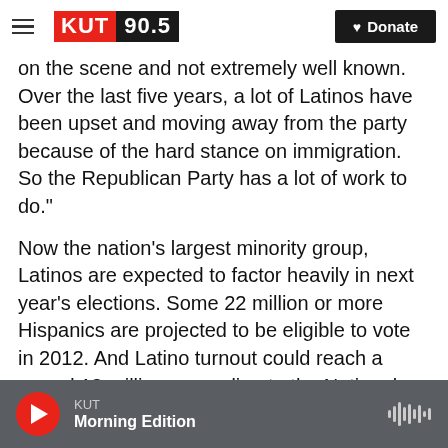KUT 90.5 | Donate
on the scene and not extremely well known. Over the last five years, a lot of Latinos have been upset and moving away from the party because of the hard stance on immigration. So the Republican Party has a lot of work to do."
Now the nation's largest minority group, Latinos are expected to factor heavily in next year's elections. Some 22 million or more Hispanics are projected to be eligible to vote in 2012. And Latino turnout could reach a record 12 million, according to the National Association of Latino Elected Officials.
For 2012, a strong Hispanic interest...
KUT — Morning Edition